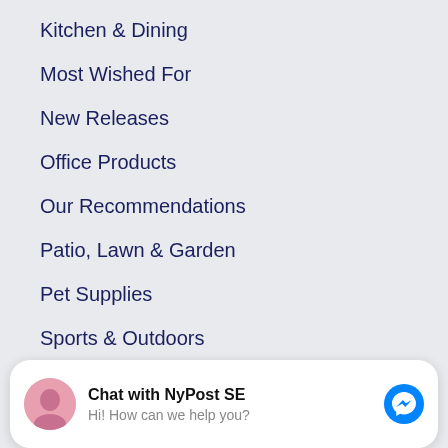Kitchen & Dining
Most Wished For
New Releases
Office Products
Our Recommendations
Patio, Lawn & Garden
Pet Supplies
Sports & Outdoors
Tools & Home Improvement
Toys & Games
Categories
[Figure (screenshot): Chat widget overlay: avatar photo, 'Chat with NyPost SE' title, 'Hi! How can we help you?' subtitle, and Facebook Messenger blue icon button on the right]
Arts, Crafts & Sewing